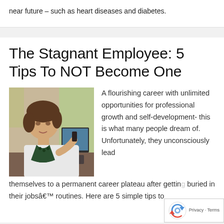near future – such as heart diseases and diabetes.
The Stagnant Employee: 5 Tips To NOT Become One
[Figure (photo): Photo of a woman sitting at a desk, holding a phone to her ear, with a green curtain and office background.]
A flourishing career with unlimited opportunities for professional growth and self-development- this is what many people dream of. Unfortunately, they unconsciously lead themselves to a permanent career plateau after getting buried in their jobsâ€™ routines. Here are 5 simple tips to